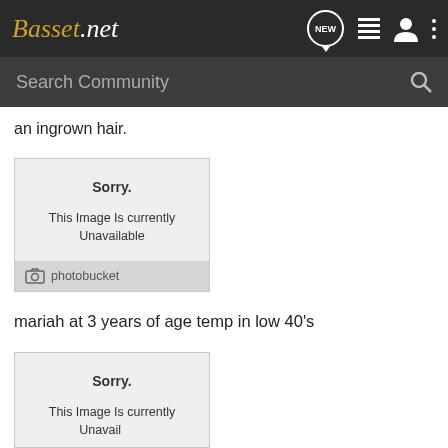Basset.net
an ingrown hair.
[Figure (screenshot): Photobucket image unavailable placeholder with 'Sorry. This Image Is currently Unavailable' text and photobucket logo at bottom]
mariah at 3 years of age temp in low 40's
[Figure (screenshot): Second Photobucket image unavailable placeholder (partially visible)]